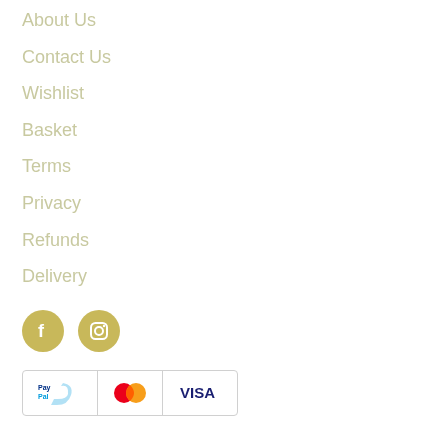About Us
Contact Us
Wishlist
Basket
Terms
Privacy
Refunds
Delivery
[Figure (logo): Facebook and Instagram social media icons as gold circles with white symbols]
[Figure (logo): PayPal, Mastercard, and Visa payment method logos in a bordered row]